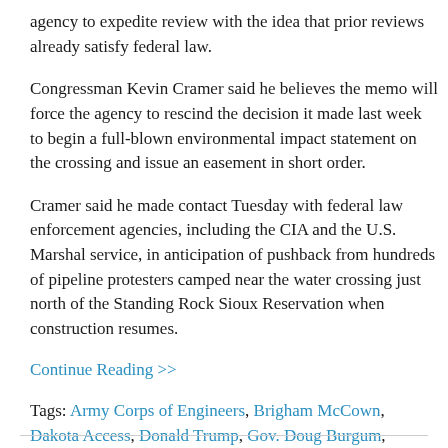agency to expedite review with the idea that prior reviews already satisfy federal law.
Congressman Kevin Cramer said he believes the memo will force the agency to rescind the decision it made last week to begin a full-blown environmental impact statement on the crossing and issue an easement in short order.
Cramer said he made contact Tuesday with federal law enforcement agencies, including the CIA and the U.S. Marshal service, in anticipation of pushback from hundreds of pipeline protesters camped near the water crossing just north of the Standing Rock Sioux Reservation when construction resumes.
Continue Reading >>
Tags: Army Corps of Engineers, Brigham McCown, Dakota Access, Donald Trump, Gov. Doug Burgum, Keystone XL, North Dakota Petroleum Council, Rep. Kevin Cramer, Sen. Heidi Heitkamp, Sen. John Hoeven, Standing Rock Sioux Tribe